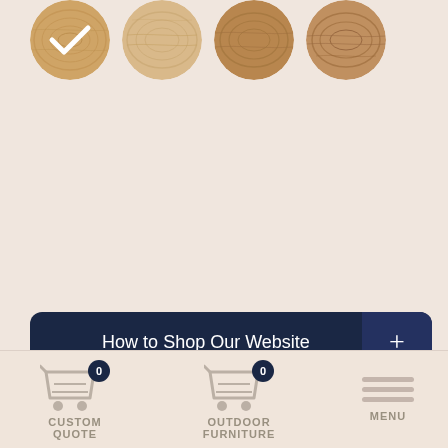[Figure (illustration): Four circular wood texture swatches at the top. The first (leftmost) has a white checkmark overlay indicating selection. Colors range from light blonde to medium tan to darker warm brown.]
How to Shop Our Website
[Figure (infographic): Bottom navigation bar with Custom Quote cart icon (badge 0), Outdoor Furniture cart icon (badge 0), and a hamburger menu labeled MENU.]